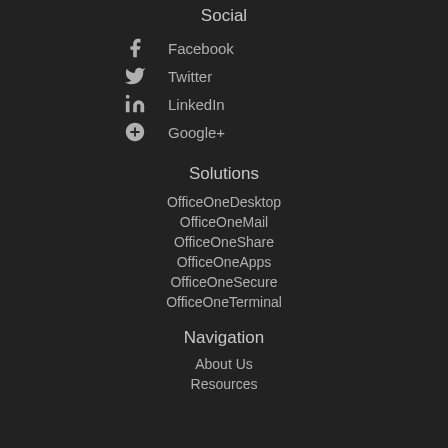Social
Facebook
Twitter
LinkedIn
Google+
Solutions
OfficeOneDesktop
OfficeOneMail
OfficeOneShare
OfficeOneApps
OfficeOneSecure
OfficeOneTerminal
Navigation
About Us
Resources